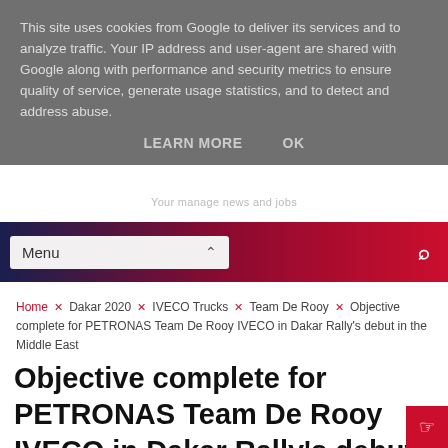This site uses cookies from Google to deliver its services and to analyze traffic. Your IP address and user-agent are shared with Google along with performance and security metrics to ensure quality of service, generate usage statistics, and to detect and address abuse.
LEARN MORE    OK
Menu
Home × Dakar 2020 × IVECO Trucks × Team De Rooy × Objective complete for PETRONAS Team De Rooy IVECO in Dakar Rally's debut in the Middle East
Objective complete for PETRONAS Team De Rooy IVECO in Dakar Rally's debut in the Middle East